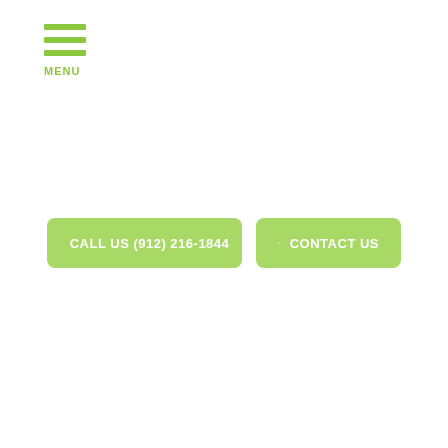[Figure (infographic): Hamburger menu icon with three green horizontal bars and MENU label below]
CALL US (912) 216-1844
CONTACT US